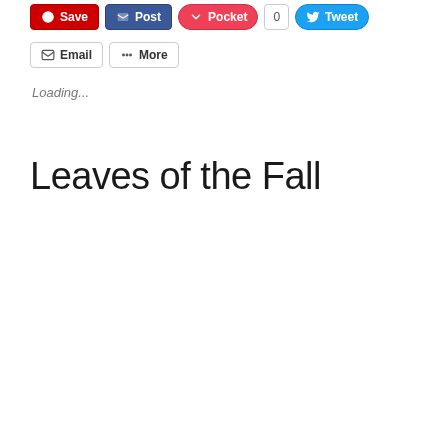[Figure (screenshot): Social sharing toolbar with Save, Post, Pocket (0), Tweet, Email, and More buttons]
Loading...
Leaves of the Fall